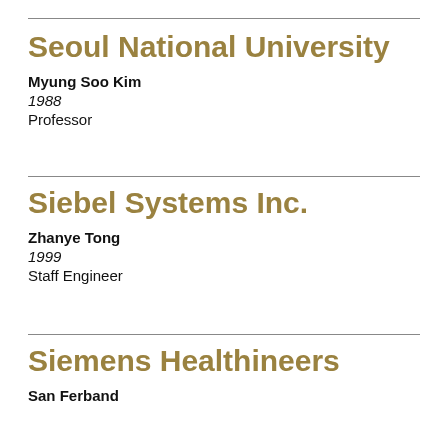Seoul National University
Myung Soo Kim
1988
Professor
Siebel Systems Inc.
Zhanye Tong
1999
Staff Engineer
Siemens Healthineers
San Ferband